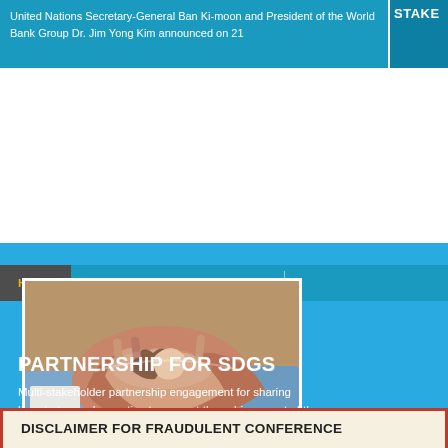United Nations Secretary-General Ban Ki-moon and President of the World Bank Group Dr. Jim Yong Kim announced on 21
STAKE
[Figure (screenshot): Navigation bar with HOME and HIGH-LEVEL POLITICAL FORUM tabs over a teal background]
[Figure (photo): Photograph of multiple hands of different skin tones stacked together symbolizing partnership]
PARTNERSHIP FOR SDGS
Multi-stakeholder partnership engagement for sharing knowledge and expertise to support the achievement of the sustainable development goals in all countries.
DISCLAIMER FOR FRAUDULENT CONFERENCE